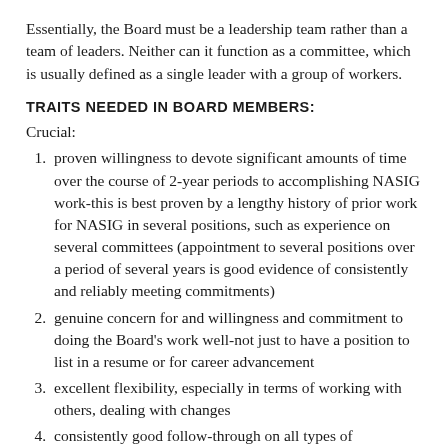Essentially, the Board must be a leadership team rather than a team of leaders. Neither can it function as a committee, which is usually defined as a single leader with a group of workers.
TRAITS NEEDED IN BOARD MEMBERS:
Crucial:
proven willingness to devote significant amounts of time over the course of 2-year periods to accomplishing NASIG work-this is best proven by a lengthy history of prior work for NASIG in several positions, such as experience on several committees (appointment to several positions over a period of several years is good evidence of consistently and reliably meeting commitments)
genuine concern for and willingness and commitment to doing the Board's work well-not just to have a position to list in a resume or for career advancement
excellent flexibility, especially in terms of working with others, dealing with changes
consistently good follow-through on all types of responsibilities, actions, commitments, etc. without